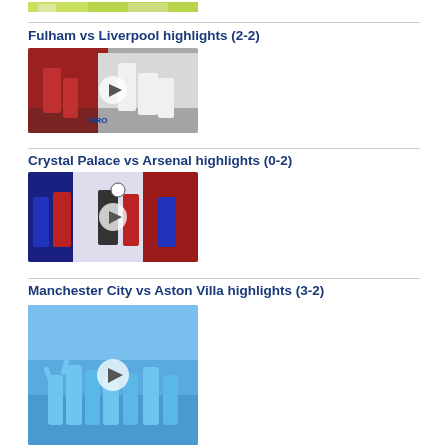[Figure (photo): Cropped top of a football/soccer action photo on green pitch]
Fulham vs Liverpool highlights (2-2)
[Figure (photo): Fulham vs Liverpool football match highlights thumbnail with play button]
Crystal Palace vs Arsenal highlights (0-2)
[Figure (photo): Crystal Palace vs Arsenal football match highlights thumbnail with play button]
Manchester City vs Aston Villa highlights (3-2)
[Figure (photo): Manchester City vs Aston Villa football match highlights thumbnail with play button, shows celebrating players]